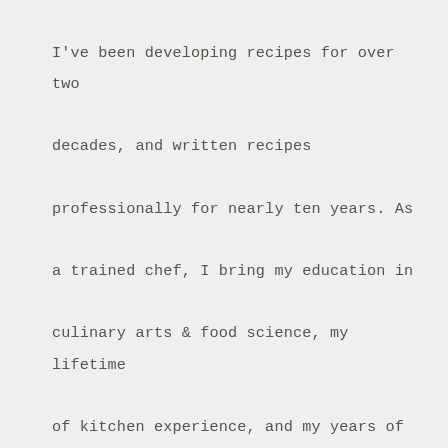I've been developing recipes for over two decades, and written recipes professionally for nearly ten years. As a trained chef, I bring my education in culinary arts & food science, my lifetime of kitchen experience, and my years of working for EatingWell's test kitchen (not to mention my creative mind!) to build recipes that will knock your customers' socks off.